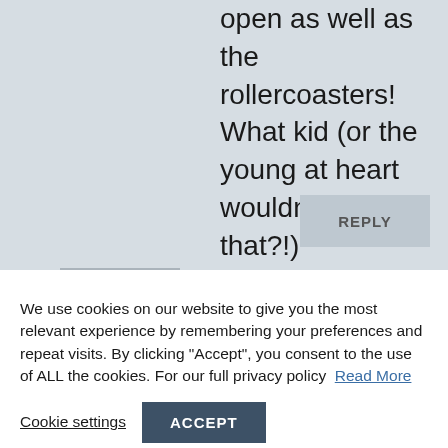open as well as the rollercoasters! What kid (or the young at heart wouldn't love that?!)
REPLY
We use cookies on our website to give you the most relevant experience by remembering your preferences and repeat visits. By clicking "Accept", you consent to the use of ALL the cookies. For our full privacy policy  Read More
Cookie settings
ACCEPT